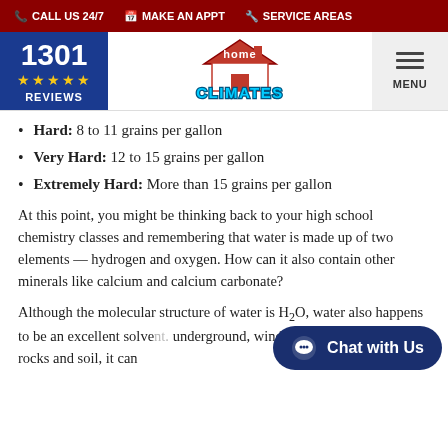CALL US 24/7  MAKE AN APPT  SERVICE AREAS
[Figure (logo): Home Climates logo with house icon and text 'home CLIMATES']
Hard: 8 to 11 grains per gallon
Very Hard: 12 to 15 grains per gallon
Extremely Hard: More than 15 grains per gallon
At this point, you might be thinking back to your high school chemistry classes and remembering that water is made up of two elements — hydrogen and oxygen. How can it also contain other minerals like calcium and calcium carbonate?
Although the molecular structure of water is H₂O, water also happens to be an excellent solve underground, winding its way through rocks and soil, it can